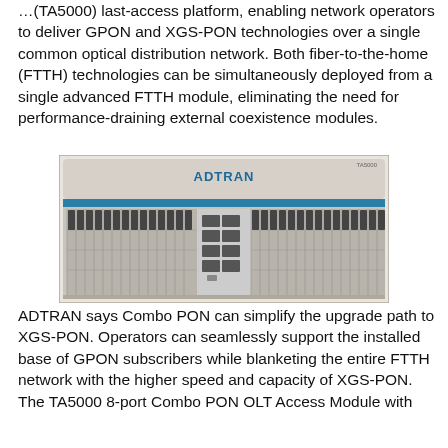…(TA5000) last-access platform, enabling network operators to deliver GPON and XGS-PON technologies over a single common optical distribution network. Both fiber-to-the-home (FTTH) technologies can be simultaneously deployed from a single advanced FTTH module, eliminating the need for performance-draining external coexistence modules.
[Figure (photo): Photo of ADTRAN TA5000 network equipment chassis showing multiple line cards/modules in a rack-mount chassis with ADTRAN branding on top.]
ADTRAN says Combo PON can simplify the upgrade path to XGS-PON. Operators can seamlessly support the installed base of GPON subscribers while blanketing the entire FTTH network with the higher speed and capacity of XGS-PON. The TA5000 8-port Combo PON OLT Access Module with